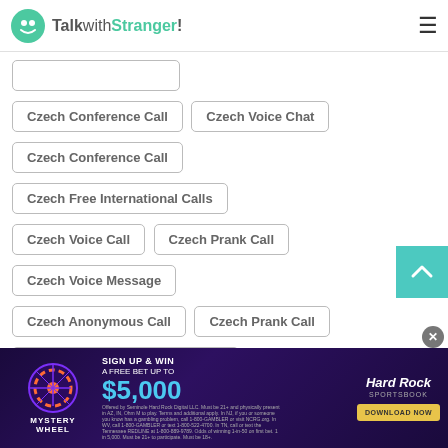TalkwithStranger!
Czech Conference Call
Czech Voice Chat
Czech Conference Call
Czech Free International Calls
Czech Voice Call
Czech Prank Call
Czech Voice Message
Czech Anonymous Call
Czech Prank Call
Czech Random Numbers to Call
Czech ICO Chat
[Figure (infographic): Hard Rock Sportsbook advertisement banner: Mystery Wheel promotion, Sign Up & Win A Free Bet Up To $5,000, Download Now button]